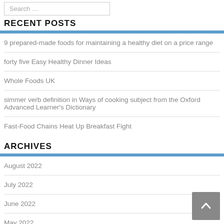RECENT POSTS
9 prepared-made foods for maintaining a healthy diet on a price range
forty five Easy Healthy Dinner Ideas
Whole Foods UK
simmer verb definition in Ways of cooking subject from the Oxford Advanced Learner's Dictionary
Fast-Food Chains Heat Up Breakfast Fight
ARCHIVES
August 2022
July 2022
June 2022
May 2022